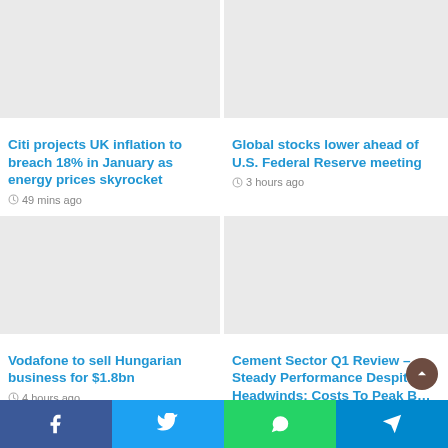[Figure (photo): Blank placeholder image for Citi UK inflation article]
Citi projects UK inflation to breach 18% in January as energy prices skyrocket
49 mins ago
[Figure (photo): Blank placeholder image for Global stocks article]
Global stocks lower ahead of U.S. Federal Reserve meeting
3 hours ago
[Figure (photo): Blank placeholder image for Vodafone article]
Vodafone to sell Hungarian business for $1.8bn
4 hours ago
[Figure (photo): Blank placeholder image for Cement Sector article]
Cement Sector Q1 Review – Steady Performance Despite Headwinds; Costs To Peak B…